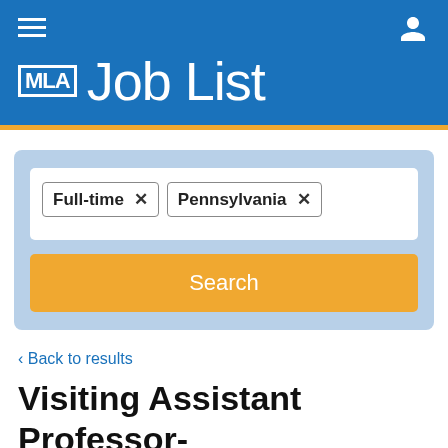MLA Job List
Full-time × Pennsylvania ×
Search
< Back to results
Visiting Assistant Professor-